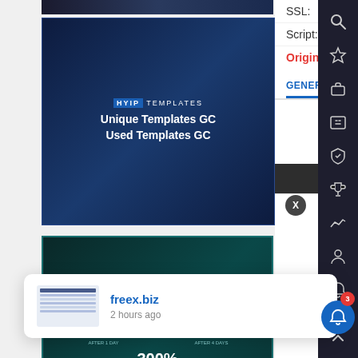[Figure (screenshot): Top dark banner image, partially visible]
[Figure (advertisement): HYIP Templates ad: Unique Templates GC, Used Templates GC on dark blue background]
[Figure (advertisement): Crypto Evolution ad: 120% after 1 day, 180% after 4 days, 300% after 9 days on teal background]
SSL: Cloudflare In
Script: Gold Coders
Originality: design: 0 | te
GENERAL INFORMATION | DEPOSIT
GENERAL INFORMATION
| TERM OF THE WORK | I |
| --- | --- |
| 1y 4m 6d
April 25, 2021 |  |
Seasonal
[Figure (screenshot): Notification popup showing freex.biz, 2 hours ago, with thumbnail screenshot]
freex.biz
2 hours ago